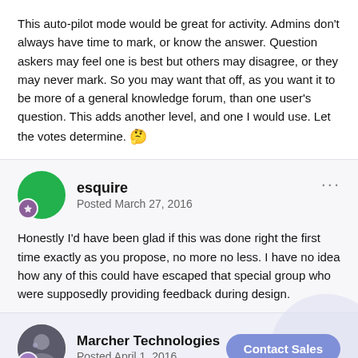This auto-pilot mode would be great for activity. Admins don't always have time to mark, or know the answer. Question askers may feel one is best but others may disagree, or they may never mark. So you may want that off, as you want it to be more of a general knowledge forum, than one user's question. This adds another level, and one I would use. Let the votes determine. 🤔
esquire — Posted March 27, 2016
Honestly I'd have been glad if this was done right the first time exactly as you propose, no more no less. I have no idea how any of this could have escaped that special group who were supposedly providing feedback during design.
Marcher Technologies — Posted April 1, 2016